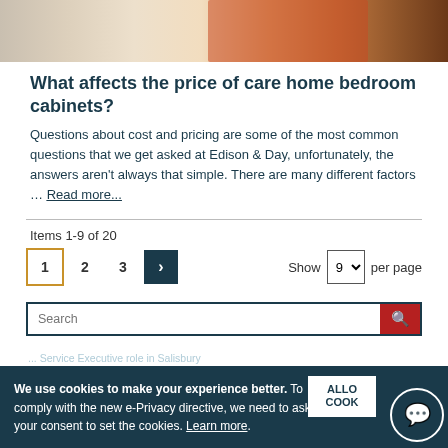[Figure (photo): Top portion of a bedroom scene with orange patterned pillow and bedding, wooden furniture visible on right]
What affects the price of care home bedroom cabinets?
Questions about cost and pricing are some of the most common questions that we get asked at Edison & Day, unfortunately, the answers aren't always that simple. There are many different factors … Read more...
Items 1-9 of 20
1  2  3  >   Show 9 per page
We use cookies to make your experience better. To comply with the new e-Privacy directive, we need to ask for your consent to set the cookies. Learn more.
ALLOW COOKIES
Recent Posts
... Service Executive role in Salisbury